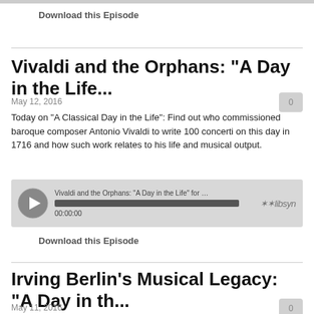Download this Episode
Vivaldi and the Orphans: "A Day in the Life...
May 12, 2016
Today on "A Classical Day in the Life": Find out who commissioned baroque composer Antonio Vivaldi to write 100 concerti on this day in 1716 and how such work relates to his life and musical output.
[Figure (screenshot): Audio player widget showing 'Vivaldi and the Orphans: "A Day in the Life" for May 12, 2...' with progress bar at 00:00:00 and libsyn branding]
Download this Episode
Irving Berlin's Musical Legacy: "A Day in th...
May 11, 2016
Today in 1888, Irving Berlin was born in a small town in Siberia.  He would go on to be one of the most celebrated American songwriters of all time.  Learn why on today's "A Day in the Life.